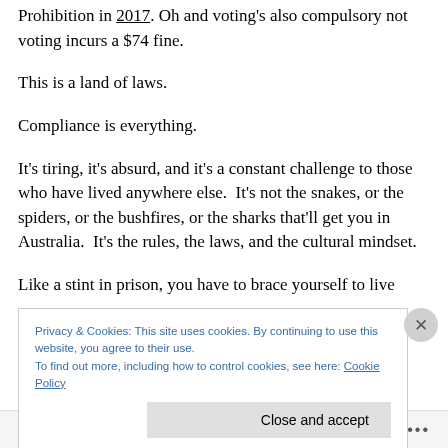Prohibition in 2017.  Oh and voting's also compulsory not voting incurs a $74 fine.
This is a land of laws.
Compliance is everything.
It's tiring, it's absurd, and it's a constant challenge to those who have lived anywhere else.  It's not the snakes, or the spiders, or the bushfires, or the sharks that'll get you in Australia.  It's the rules, the laws, and the cultural mindset.
Like a stint in prison, you have to brace yourself to live
Privacy & Cookies: This site uses cookies. By continuing to use this website, you agree to their use.
To find out more, including how to control cookies, see here: Cookie Policy
Follow